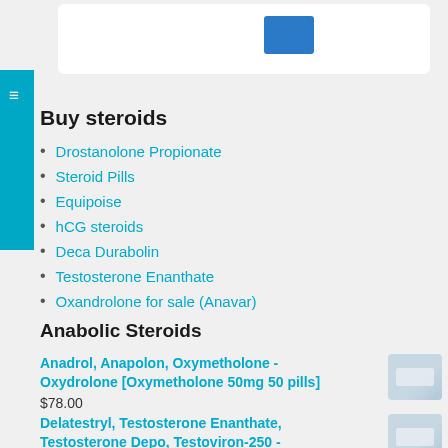[Figure (screenshot): Top navigation bar with white search/input box and blue button on grey background]
Buy steroids
Drostanolone Propionate
Steroid Pills
Equipoise
hCG steroids
Deca Durabolin
Testosterone Enanthate
Oxandrolone for sale (Anavar)
Anabolic Steroids
Anadrol, Anapolon, Oxymetholone - Oxydrolone [Oxymetholone 50mg 50 pills]
$78.00
Delatestryl, Testosterone Enanthate, Testosterone Depo, Testoviron-250 - Testobolin [Testosterone Enanthate 250mg 10 ampoules]